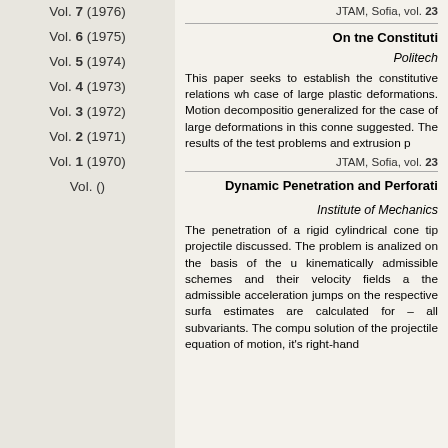Vol. 7 (1976)
Vol. 6 (1975)
Vol. 5 (1974)
Vol. 4 (1973)
Vol. 3 (1972)
Vol. 2 (1971)
Vol. 1 (1970)
Vol. ()
JTAM, Sofia, vol. 23
On tne Constituti…
Politech…
This paper seeks to establish the constitutive relations wh… case of large plastic deformations. Motion decompositio… generalized for the case of large deformations in this conne… suggested. The results of the test problems and extrusion p…
JTAM, Sofia, vol. 23
Dynamic Penetration and Perforati…
Institute of Mechanics…
The penetration of a rigid cylindrical cone tip projectile … discussed. The problem is analized on the basis of the u… kinematically admissible schemes and their velocity fields a… the admissible acceleration jumps on the respective surfa… estimates are calculated for – all subvariants. The compu… solution of the projectile equation of motion, it's right-hand …